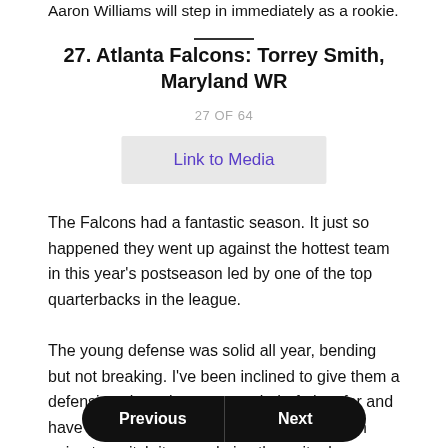Aaron Williams will step in immediately as a rookie.
27. Atlanta Falcons: Torrey Smith, Maryland WR
27 OF 64
Link to Media
The Falcons had a fantastic season. It just so happened they went up against the hottest team in this year's postseason led by one of the top quarterbacks in the league.
The young defense was solid all year, bending but not breaking. I've been inclined to give them a defensive player in every mock draft thus far and have been quite harsh on the unit overall. I'm going to switch it up and give the unit a brea
The Falcons give Matt Ryan...